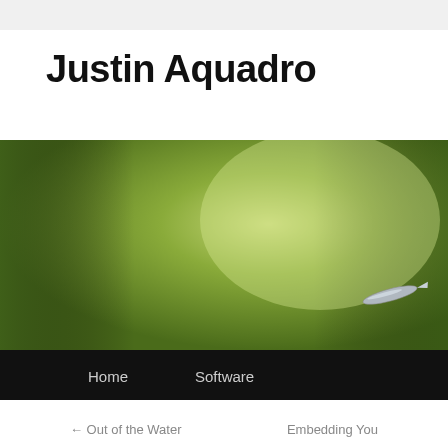Justin Aquadro
[Figure (photo): A close-up photo of a dragonfly or pen tip against a blurred green background, with a black navigation bar below reading Home and Software]
← Out of the Water
Embedding You
Bringing your XNA WinForms Controls to
SparSh...